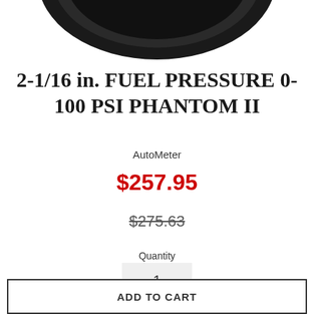[Figure (photo): Bottom portion of a circular black automotive gauge (fuel pressure gauge), showing the dark bezel ring on white background.]
2-1/16 in. FUEL PRESSURE 0-100 PSI PHANTOM II
AutoMeter
$257.95
$275.63
Quantity
1
ADD TO CART